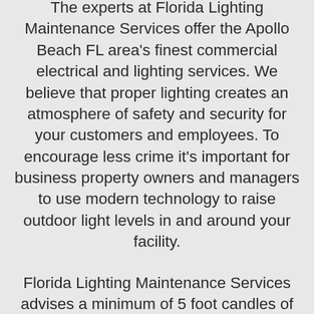The experts at Florida Lighting Maintenance Services offer the Apollo Beach FL area's finest commercial electrical and lighting services. We believe that proper lighting creates an atmosphere of safety and security for your customers and employees. To encourage less crime it's important for business property owners and managers to use modern technology to raise outdoor light levels in and around your facility.
Florida Lighting Maintenance Services advises a minimum of 5 foot candles of lighting for all parking areas